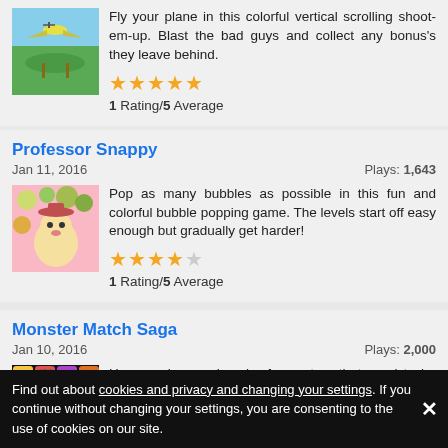[Figure (illustration): Plane game screenshot with sky and green ground]
Fly your plane in this colorful vertical scrolling shoot-em-up. Blast the bad guys and collect any bonus's they leave behind.
1 Rating/5 Average
Professor Snappy
Jan 11, 2016    Plays: 1,643
[Figure (illustration): Professor Snappy bubble popping game screenshot]
Pop as many bubbles as possible in this fun and colorful bubble popping game. The levels start off easy enough but gradually get harder!
1 Rating/5 Average
Monster Match Saga
Jan 10, 2016    Plays: 2,000
[Figure (illustration): Monster Match Saga game screenshot with colorful monster tiles]
Here we have a bunch of monsters that need to be matched up. Look out for the bomb and spinning monsters that will
Find out about cookies and privacy and changing your settings. If you continue without changing your settings, you are consenting to the use of cookies on our site.